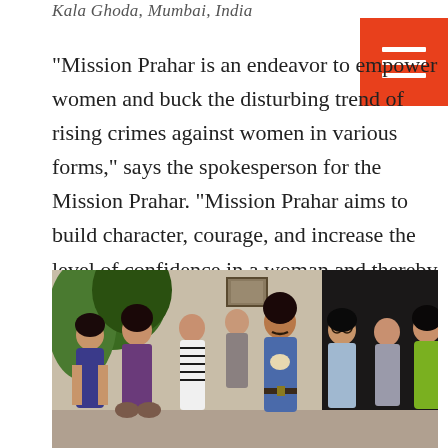Kala Ghoda, Mumbai, India
“Mission Prahar is an endeavor to empower women and buck the disturbing trend of rising crimes against women in various forms,” says the spokesperson for the Mission Prahar. “Mission Prahar aims to build character, courage, and increase the level of confidence in a woman and thereby make her self-sufficient in avoiding any assault.”
[Figure (photo): Group photo of seven people (one man and six women) standing together indoors, with plants visible in the background. The man is in the center wearing a blue shirt. Women are dressed in various casual outfits.]